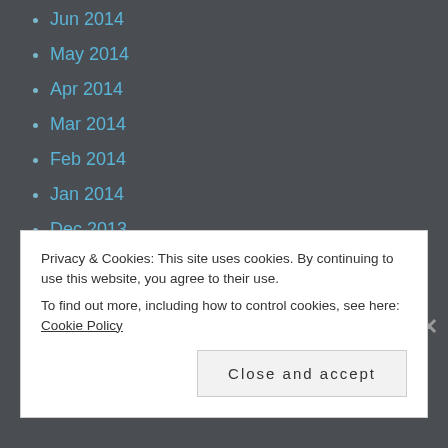Jun 2014
May 2014
Apr 2014
Mar 2014
Feb 2014
Jan 2014
Dec 2013
Nov 2013
Oct 2013
CATEGORIES
Privacy & Cookies: This site uses cookies. By continuing to use this website, you agree to their use. To find out more, including how to control cookies, see here: Cookie Policy
Close and accept